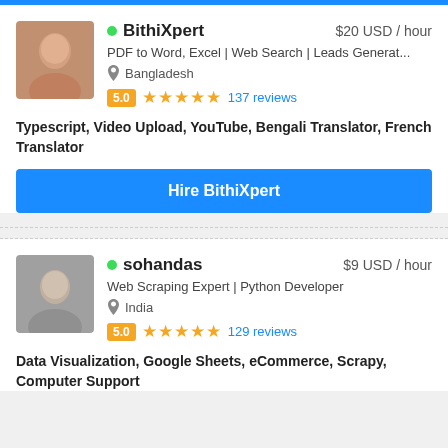[Figure (other): Blue top bar stripe]
[Figure (photo): Profile photo of BithiXpert, a woman]
BithiXpert
$20 USD / hour
PDF to Word, Excel | Web Search | Leads Generat...
Bangladesh
5.0 ★★★★★ 137 reviews
Typescript, Video Upload, YouTube, Bengali Translator, French Translator
Hire BithiXpert
[Figure (photo): Profile photo of sohandas, a man]
sohandas
$9 USD / hour
Web Scraping Expert | Python Developer
India
5.0 ★★★★★ 129 reviews
Data Visualization, Google Sheets, eCommerce, Scrapy, Computer Support